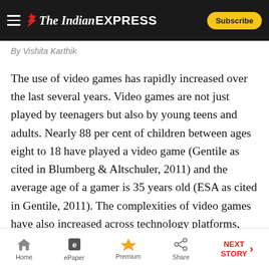The Indian EXPRESS
By Vishita Karthik
The use of video games has rapidly increased over the last several years. Video games are not just played by teenagers but also by young teens and adults. Nearly 88 per cent of children between ages eight to 18 have played a video game (Gentile as cited in Blumberg & Altschuler, 2011) and the average age of a gamer is 35 years old (ESA as cited in Gentile, 2011). The complexities of video games have also increased across technology platforms, multi-player networks and sophistication of the game.
Home | ePaper | Premium | Share | NEXT STORY